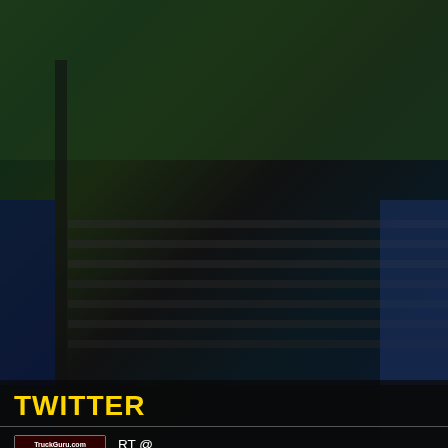[Figure (screenshot): Dark background showing blurred trucks/warehouse scene with green and blue tones]
TWITTER
[Figure (photo): TruckGuru.com avatar icon showing a red truck on dark background]
RT @ pukkatruckeruk : Hard work pays off @TrucknDriver @dougierankine @MartyMoneMUSIC @juleslong16 @ScaniaUK @ScaniaGroup @scania_online...